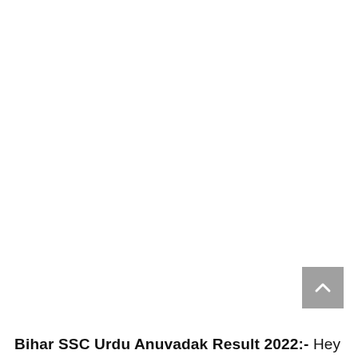[Figure (other): Scroll-to-top button with upward-pointing chevron arrow, gray background, positioned in lower-right area]
Bihar SSC Urdu Anuvadak Result 2022:- Hey